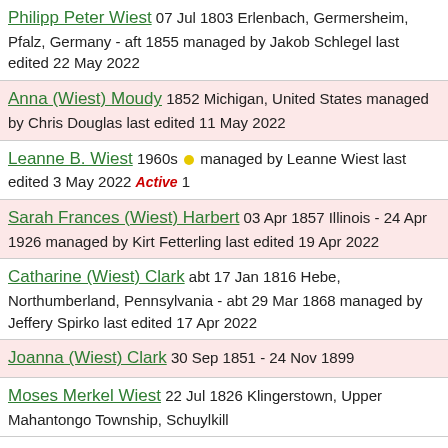Philipp Peter Wiest 07 Jul 1803 Erlenbach, Germersheim, Pfalz, Germany - aft 1855 managed by Jakob Schlegel last edited 22 May 2022
Anna (Wiest) Moudy 1852 Michigan, United States managed by Chris Douglas last edited 11 May 2022
Leanne B. Wiest 1960s managed by Leanne Wiest last edited 3 May 2022 Active 1
Sarah Frances (Wiest) Harbert 03 Apr 1857 Illinois - 24 Apr 1926 managed by Kirt Fetterling last edited 19 Apr 2022
Catharine (Wiest) Clark abt 17 Jan 1816 Hebe, Northumberland, Pennsylvania - abt 29 Mar 1868 managed by Jeffery Spirko last edited 17 Apr 2022
Joanna (Wiest) Clark 30 Sep 1851 - 24 Nov 1899
Moses Merkel Wiest 22 Jul 1826 Klingerstown, Upper Mahantongo Township, Schuylkill